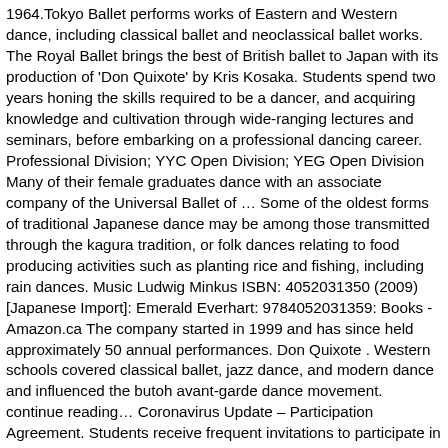1964.Tokyo Ballet performs works of Eastern and Western dance, including classical ballet and neoclassical ballet works. The Royal Ballet brings the best of British ballet to Japan with its production of 'Don Quixote' by Kris Kosaka. Students spend two years honing the skills required to be a dancer, and acquiring knowledge and cultivation through wide-ranging lectures and seminars, before embarking on a professional dancing career. Professional Division; YYC Open Division; YEG Open Division Many of their female graduates dance with an associate company of the Universal Ballet of … Some of the oldest forms of traditional Japanese dance may be among those transmitted through the kagura tradition, or folk dances relating to food producing activities such as planting rice and fishing, including rain dances. Music Ludwig Minkus ISBN: 4052031350 (2009) [Japanese Import]: Emerald Everhart: 9784052031359: Books - Amazon.ca The company started in 1999 and has since held approximately 50 annual performances. Don Quixote . Western schools covered classical ballet, jazz dance, and modern dance and influenced the butoh avant-garde dance movement. continue reading… Coronavirus Update – Participation Agreement. Students receive frequent invitations to participate in ballet school festivals overseas, strengthening the School's international ties. Program and Cost.. Don't miss it! So much so it earns a spot higher than a school